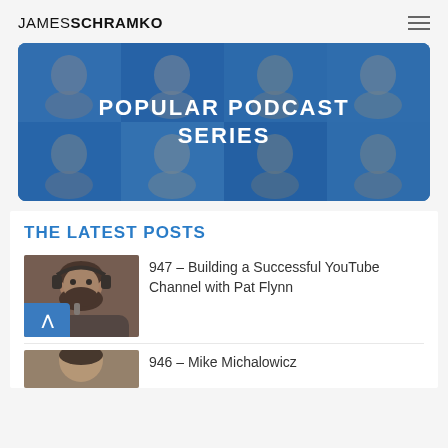JAMES SCHRAMKO
[Figure (photo): Banner image with blue overlay showing a grid of podcast guest faces with text 'POPULAR PODCAST SERIES']
THE LATEST POSTS
[Figure (photo): Thumbnail photo of a bearded man wearing headphones, smiling]
947 – Building a Successful YouTube Channel with Pat Flynn
[Figure (photo): Partial thumbnail photo of a man, partially visible at bottom of page]
946 – Mike Michalowicz